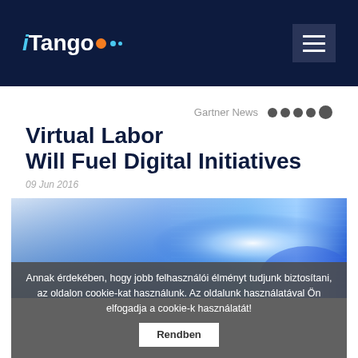iTango logo and navigation menu
Gartner News
Virtual Labor Will Fuel Digital Initiatives
09 Jun 2016
[Figure (photo): Abstract blue digital technology background with glowing light effects]
Annak érdekében, hogy jobb felhasználói élményt tudjunk biztosítani, az oldalon cookie-kat használunk. Az oldalunk használatával Ön elfogadja a cookie-k használatát!